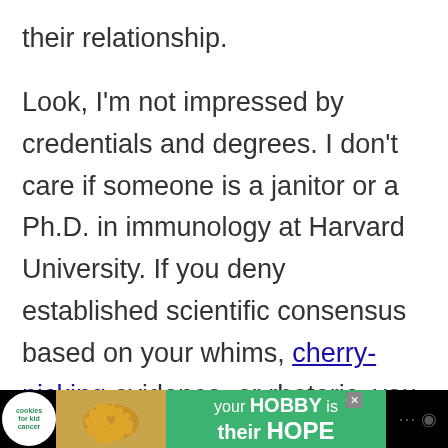their relationship.
Look, I'm not impressed by credentials and degrees. I don't care if someone is a janitor or a Ph.D. in immunology at Harvard University. If you deny established scientific consensus based on your whims, cherry-picking evidence, or rhetoric, you have nothing. You bring nothing to a scientific discussion. If you want to overturn the
[Figure (screenshot): Advertisement banner at the bottom. Shows cookies for kid cancer logo on left, a yellow heart cookie image in center-left, green background with text 'your HOBBY is their HOPE', close button X, and dark icons on the right.]